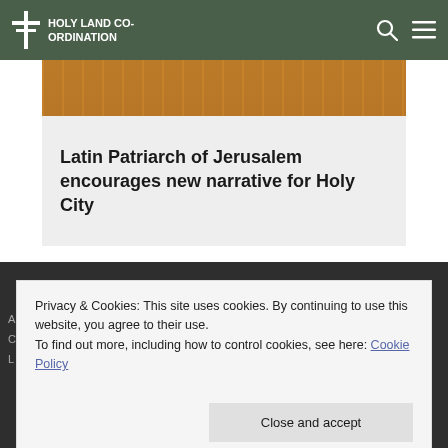HOLY LAND CO-ORDINATION
[Figure (photo): Partial photo of a wooden surface/table, cropped strip at the top of an article card]
Latin Patriarch of Jerusalem encourages new narrative for Holy City
Privacy & Cookies: This site uses cookies. By continuing to use this website, you agree to their use.
To find out more, including how to control cookies, see here: Cookie Policy
Close and accept